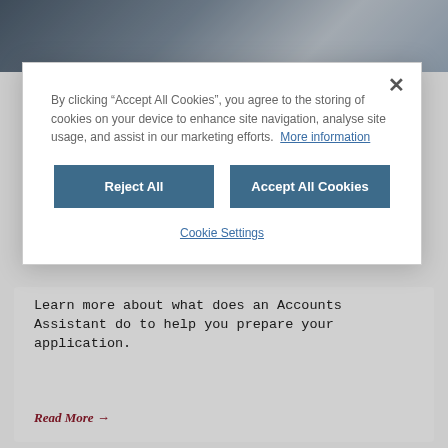[Figure (photo): Top portion of a webpage showing a photo of people with a laptop, partially obscured by cookie consent modal]
By clicking “Accept All Cookies”, you agree to the storing of cookies on your device to enhance site navigation, analyse site usage, and assist in our marketing efforts.  More information
Reject All
Accept All Cookies
Cookie Settings
Learn more about what does an Accounts Assistant do to help you prepare your application.
Read More →